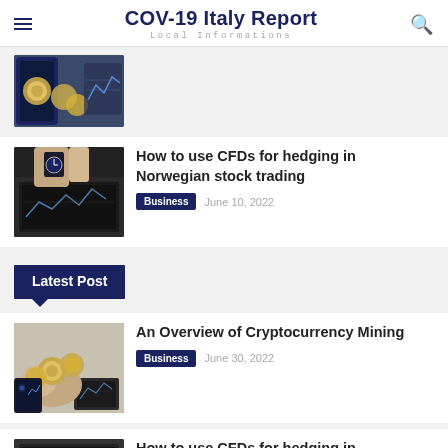COV-19 Italy Report — Local Informations
[Figure (photo): Top-down view of gold coins/cryptocurrency and a smartphone with charts]
How to use CFDs for hedging in Norwegian stock trading
Business  June 10, 2022
Latest Post
An Overview of Cryptocurrency Mining
Business  June 30, 2022
[Figure (photo): Hands holding gold coins/cryptocurrency with smartphone and charts on table]
How to use CFDs for hedging in Norwegian stock trading
[Figure (photo): Laptop with trading charts, partial view]